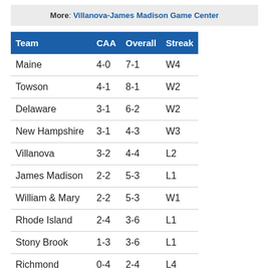More: Villanova-James Madison Game Center
| Team | CAA | Overall | Streak |
| --- | --- | --- | --- |
| Maine | 4-0 | 7-1 | W4 |
| Towson | 4-1 | 8-1 | W2 |
| Delaware | 3-1 | 6-2 | W2 |
| New Hampshire | 3-1 | 4-3 | W3 |
| Villanova | 3-2 | 4-4 | L2 |
| James Madison | 2-2 | 5-3 | L1 |
| William & Mary | 2-2 | 5-3 | W1 |
| Rhode Island | 2-4 | 3-6 | L1 |
| Stony Brook | 1-3 | 3-6 | L1 |
| Richmond | 0-4 | 2-4 | L4 |